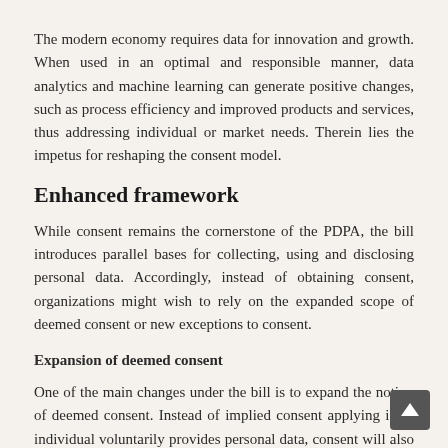The modern economy requires data for innovation and growth. When used in an optimal and responsible manner, data analytics and machine learning can generate positive changes, such as process efficiency and improved products and services, thus addressing individual or market needs. Therein lies the impetus for reshaping the consent model.
Enhanced framework
While consent remains the cornerstone of the PDPA, the bill introduces parallel bases for collecting, using and disclosing personal data. Accordingly, instead of obtaining consent, organizations might wish to rely on the expanded scope of deemed consent or new exceptions to consent.
Expansion of deemed consent
One of the main changes under the bill is to expand the notion of deemed consent. Instead of implied consent applying if an individual voluntarily provides personal data, consent will also be deemed when necessary to satisfy the individualâs contractual needs or upon notification of the